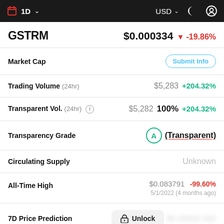1D  USD
GSTRM  $0.000334  -19.86%
| Metric | Value |
| --- | --- |
| Market Cap | Submit Info |
| Trading Volume (24hr) | $5,283  +204.32% |
| Transparent Vol. (24hr) | $5,282  100%  +204.32% |
| Transparency Grade | A (Transparent) |
| Circulating Supply | Unknown |
| All-Time High | $0.083791  -99.60%  5/1/2022 (4 months ago) |
| 7D Price Prediction | Unlock  [blurred] |